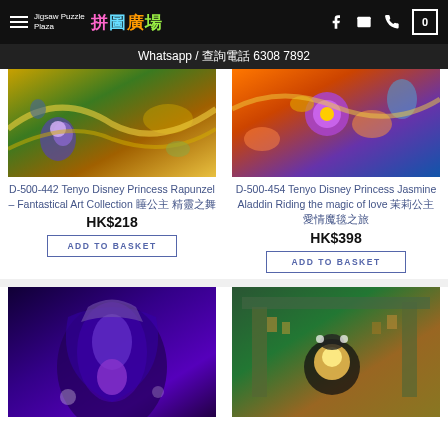Jigsaw Puzzle Plaza 拼圖廣場 | Whatsapp / 查詢電話 6308 7892
D-500-442 Tenyo Disney Princess Rapunzel – Fantastical Art Collection 睡公主 精靈之舞 HK$218
D-500-454 Tenyo Disney Princess Jasmine Aladdin Riding the magic of love 茉莉公主 愛情魔毯之旅 HK$398
[Figure (photo): Jigsaw puzzle image of Disney Princess Rapunzel Fantastical Art Collection with golden swirls and flowers]
[Figure (photo): Jigsaw puzzle image of Disney Princess Jasmine Aladdin Riding the magic of love with purple flower and colorful characters]
[Figure (photo): Jigsaw puzzle image of Disney villain characters in dark purple tones]
[Figure (photo): Jigsaw puzzle image of Mickey Mouse in a collectibles shop with many figurines]